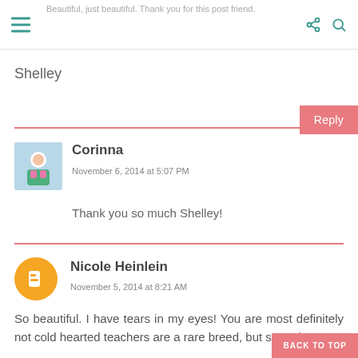Beautiful, just beautiful. Thank you for this post friend.
Shelley
Reply
Corinna
November 6, 2014 at 5:07 PM
Thank you so much Shelley!
Nicole Heinlein
November 5, 2014 at 8:21 AM
So beautiful. I have tears in my eyes! You are most definitely not cold hearted teachers are a rare breed, but sometimes we
BACK TO TOP